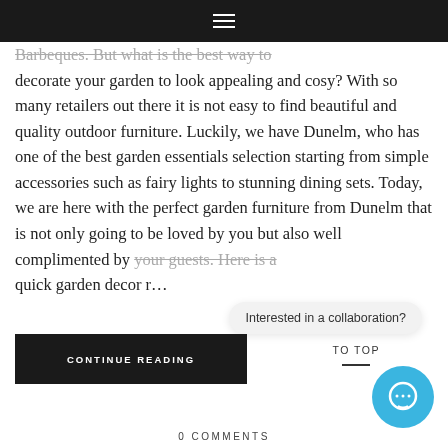☰
Barbeques. But what is the best way to decorate your garden to look appealing and cosy? With so many retailers out there it is not easy to find beautiful and quality outdoor furniture. Luckily, we have Dunelm, who has one of the best garden essentials selection starting from simple accessories such as fairy lights to stunning dining sets. Today, we are here with the perfect garden furniture from Dunelm that is not only going to be loved by you but also well complimented by your guests. Here is a quick garden decor r…
Interested in a collaboration?
TO TOP
CONTINUE READING
0 COMMENTS